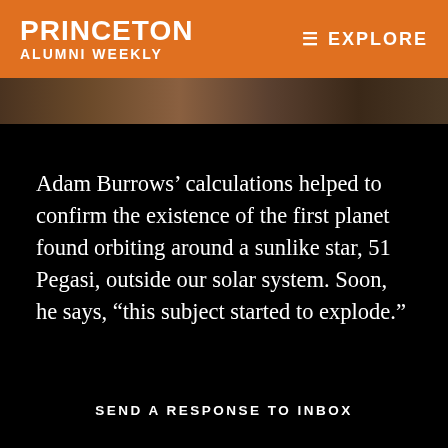PRINCETON ALUMNI WEEKLY — EXPLORE
[Figure (photo): Partial photograph of a person visible as a narrow horizontal strip beneath the orange header bar]
Adam Burrows' calculations helped to confirm the existence of the first planet found orbiting around a sunlike star, 51 Pegasi, outside our solar system. Soon, he says, “this subject started to explode.”
SEND A RESPONSE TO INBOX